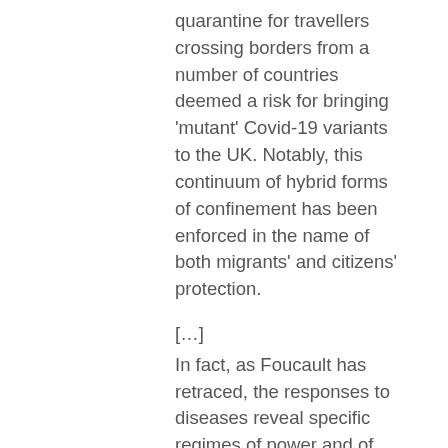quarantine for travellers crossing borders from a number of countries deemed a risk for bringing 'mutant' Covid-19 variants to the UK. Notably, this continuum of hybrid forms of confinement has been enforced in the name of both migrants' and citizens' protection.
[…]
In fact, as Foucault has retraced, the responses to diseases reveal specific regimes of power and of power transformations – leprosy: sovereign power; plague: disciplinary power; smallpox: biopower and security